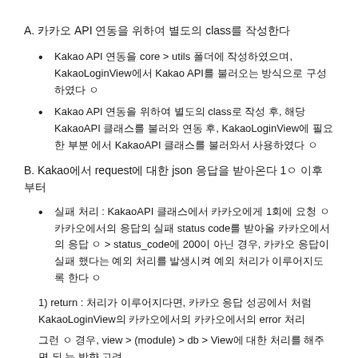A. 카카오 API 연동을 위하여 별도의 class를 작성한다
Kakao API 연동을 core > utils 폴더에 작성하였으며, KakaoLoginView에서 Kakao API를 불러오는 방식으로 구성하였다 ㅇ
Kakao API 연동을 위하여 별도의 class로 작성 후, 해당 KakaoAPI 클래스를 불러와 연동 후, KakaoLoginView에 필요한 부분 에서 KakaoAPI 클래스를 불러와서 사용하였다 ㅇ
B. Kakao에서 request에 대한 json 응답을 받아온다 1ㅇ 이후부터
실패 처리 : KakaoAPI 클래스에서 카카오에게 1회에 요청 ㅇ 카카오에서의 응답의 실패 status code를 받아올 카카오에서의 응답 ㅇ > status_code에 200이 아닌 경우, 카카오 응답이 실패 했다는 예외처리를 발생시켜 예외 처리가 이루어지도록 한다 ㅇ
1) return : 처리가 이루어지다면, 카카오 응답 성공에서 처럼 KakaoLoginView의 카카오에서의 카카오에서의 error 처리
그런 ㅇ 경우, view > (module) > db > View에 대한 처리를 해주 면 되 는 방향 고려